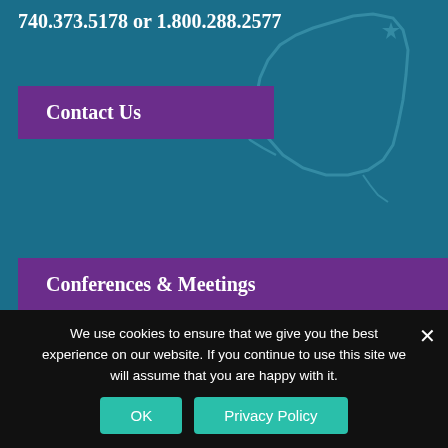740.373.5178 or 1.800.288.2577
[Figure (map): Outline map of Ohio with a star marker in the upper right region, rendered as a light teal/blue silhouette on a teal background]
Contact Us
Conferences & Meetings
About the CVB
Our Visitor Guide
Website Feedback
We use cookies to ensure that we give you the best experience on our website. If you continue to use this site we will assume that you are happy with it.
OK
Privacy Policy